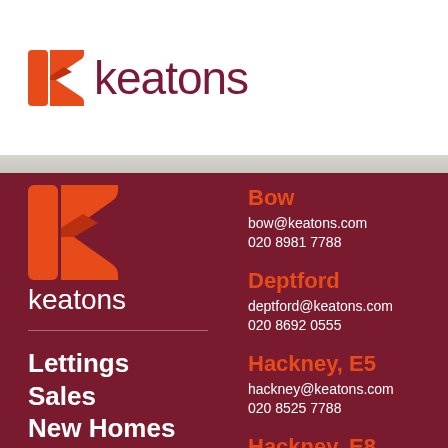[Figure (logo): Keatons logo with orange K icon and dark red 'keatons' wordmark]
Bow
bow@keatons.com
020 8981 7788
Deptford
deptford@keatons.com
020 8692 0555
Hackney, E5
hackney@keatons.com
020 8525 7788
Hackney, E8
Lettings
Sales
New Homes
Area Guides